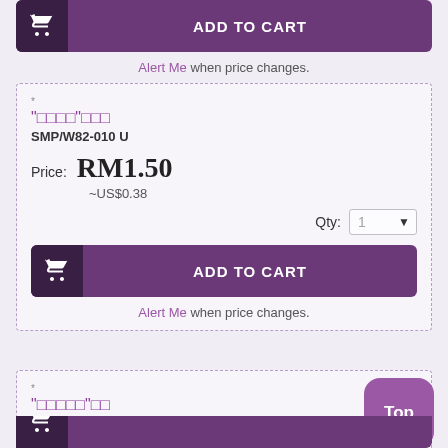[Figure (screenshot): ADD TO CART button with shopping cart icon at top of page (partial view)]
Alert Me when price changes.
"□□□□"□□□
SMP/W82-010 U
Price: RM1.50
~US$0.38
Qty: 1
[Figure (screenshot): ADD TO CART button with shopping cart icon]
Alert Me when price changes.
"□□□□□"□□
SMP/W82-011 U
Price: RM1.50
~US$0.38
Qty: 1
[Figure (screenshot): Top scroll button (purple rounded square) and partial ADD TO CART button at bottom]